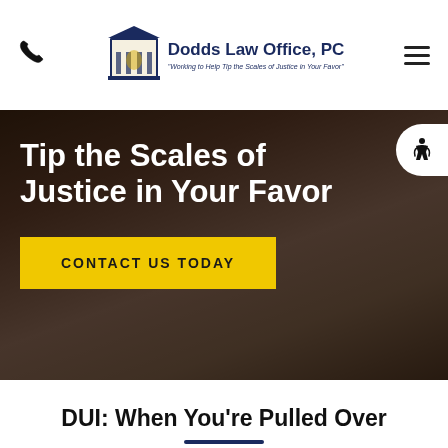Dodds Law Office, PC — "Working to Help Tip the Scales of Justice in Your Favor"
[Figure (illustration): Hero background image showing bandaged hand on a surface, overlaid with dark semi-transparent layer]
Tip the Scales of Justice in Your Favor
CONTACT US TODAY
DUI: When You're Pulled Over